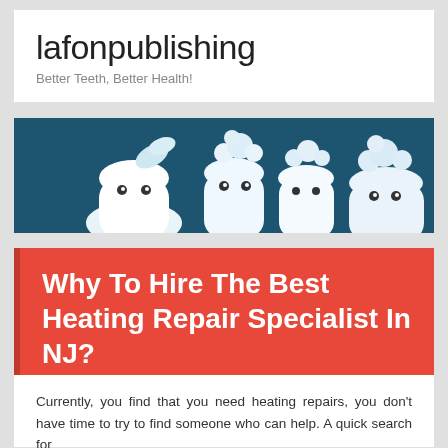lafonpublishing
Better Teeth, Better Health!
[Figure (illustration): Cartoon banner with cute tooth characters on a dark teal background]
Why To Hire The Best Heating Repair Specialist In NJ?
Currently, you find that you need heating repairs, you don't have time to try to find someone who can help. A quick search for